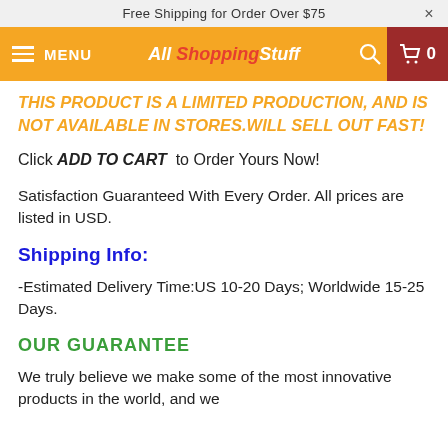Free Shipping for Order Over $75
MENU | All Shopping Stuff | 0
THIS PRODUCT IS A LIMITED PRODUCTION, AND IS NOT AVAILABLE IN STORES.WILL SELL OUT FAST!
Click ADD TO CART to Order Yours Now!
Satisfaction Guaranteed With Every Order. All prices are listed in USD.
Shipping Info:
-Estimated Delivery Time:US 10-20 Days; Worldwide 15-25 Days.
OUR GUARANTEE
We truly believe we make some of the most innovative products in the world, and we